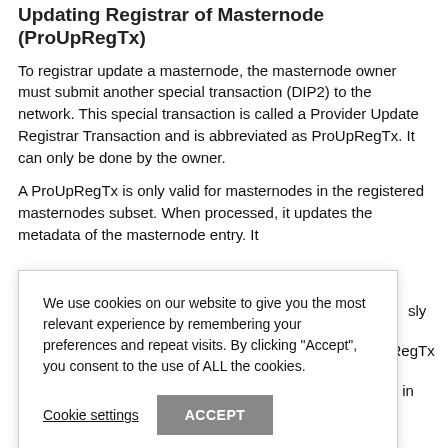Updating Registrar of Masternode (ProUpRegTx)
To registrar update a masternode, the masternode owner must submit another special transaction (DIP2) to the network. This special transaction is called a Provider Update Registrar Transaction and is abbreviated as ProUpRegTx. It can only be done by the owner.
A ProUpRegTx is only valid for masternodes in the registered masternodes subset. When processed, it updates the metadata of the masternode entry. It [partially obscured] sly marked as [partially obscured] ProUpRegTx [partially obscured] ng data in the
We use cookies on our website to give you the most relevant experience by remembering your preferences and repeat visits. By clicking "Accept", you consent to the use of ALL the cookies.
Cookie settings   ACCEPT
| Description |
| --- |
| Upgrade Provider Transaction |